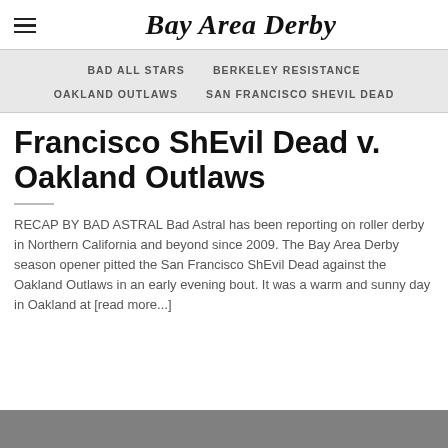Bay Area Derby
BAD ALL STARS   BERKELEY RESISTANCE   OAKLAND OUTLAWS   SAN FRANCISCO SHEVIL DEAD
Francisco ShEvil Dead v. Oakland Outlaws
RECAP BY BAD ASTRAL Bad Astral has been reporting on roller derby in Northern California and beyond since 2009. The Bay Area Derby season opener pitted the San Francisco ShEvil Dead against the Oakland Outlaws in an early evening bout. It was a warm and sunny day in Oakland at [read more...]
[Figure (photo): Bottom portion of a photograph, partially visible, showing people presumably at a roller derby event]